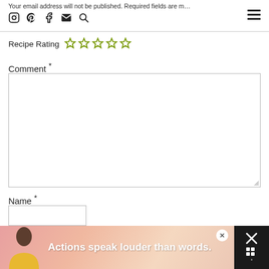Your email address will not be published. Required fields are marked
Recipe Rating ☆☆☆☆☆
Comment *
Name *
Em...
[Figure (screenshot): Ad banner: person in yellow shirt, text 'Actions speak louder than words.' on pink/peach background with close button]